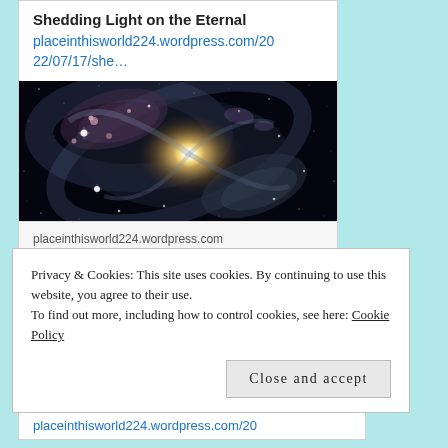Shedding Light on the Eternal
placeinthisworld224.wordpress.com/2022/07/17/she…
[Figure (photo): Hubble space telescope image of a spiral galaxy with bright center and swirling arms against a dark starfield]
placeinthisworld224.wordpress.com
Shedding Light on the Eternal
Privacy & Cookies: This site uses cookies. By continuing to use this website, you agree to their use.
To find out more, including how to control cookies, see here: Cookie Policy
Close and accept
placeinthisworld224.wordpress.com/20